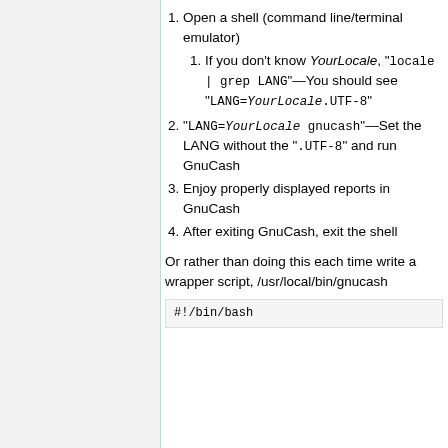1. Open a shell (command line/terminal emulator)
1.1. If you don't know YourLocale, "locale | grep LANG"—You should see "LANG=YourLocale.UTF-8"
2. "LANG=YourLocale gnucash"—Set the LANG without the ".UTF-8" and run GnuCash
3. Enjoy properly displayed reports in GnuCash
4. After exiting GnuCash, exit the shell
Or rather than doing this each time write a wrapper script, /usr/local/bin/gnucash
#!/bin/bash